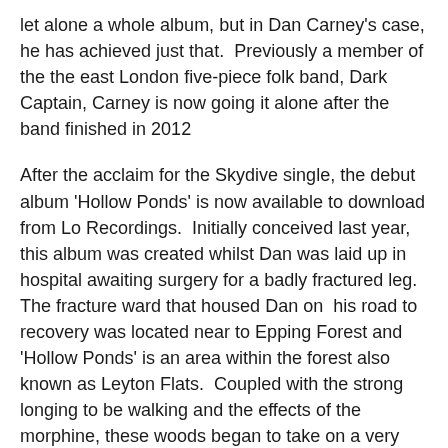let alone a whole album, but in Dan Carney's case, he has achieved just that.  Previously a member of the the east London five-piece folk band, Dark Captain, Carney is now going it alone after the band finished in 2012
After the acclaim for the Skydive single, the debut album 'Hollow Ponds' is now available to download from Lo Recordings.  Initially conceived last year, this album was created whilst Dan was laid up in hospital awaiting surgery for a badly fractured leg.  The fracture ward that housed Dan on  his road to recovery was located near to Epping Forest and 'Hollow Ponds' is an area within the forest also known as Leyton Flats.  Coupled with the strong longing to be walking and the effects of the morphine, these woods began to take on a very mystical edge and his dreams of escaping to these realms would now be put into writing